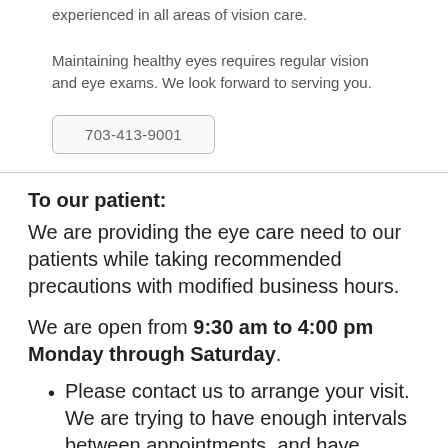experienced in all areas of vision care.
Maintaining healthy eyes requires regular vision and eye exams. We look forward to serving you.
703-413-9001
To our patient:
We are providing the eye care need to our patients while taking recommended precautions with modified business hours.
We are open from 9:30 am to 4:00 pm Monday through Saturday.
Please contact us to arrange your visit. We are trying to have enough intervals between appointments, and have adequate space by limiting the number of people in our